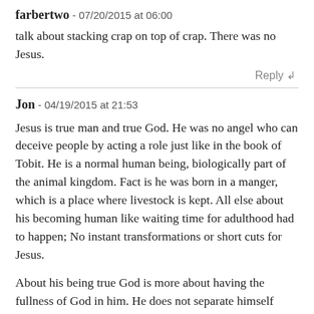farbertwo - 07/20/2015 at 06:00
talk about stacking crap on top of crap. There was no Jesus.
Reply ↲
Jon - 04/19/2015 at 21:53
Jesus is true man and true God. He was no angel who can deceive people by acting a role just like in the book of Tobit. He is a normal human being, biologically part of the animal kingdom. Fact is he was born in a manger, which is a place where livestock is kept. All else about his becoming human like waiting time for adulthood had to happen; No instant transformations or short cuts for Jesus.
About his being true God is more about having the fullness of God in him. He does not separate himself from God but rather showed the WAY to the Father instead. This was his mission. He did declare that we are "gods" but